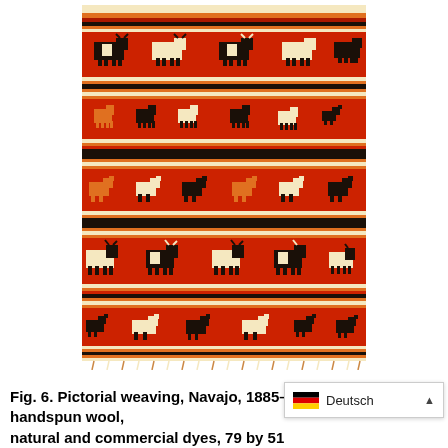[Figure (photo): A Navajo pictorial weaving, ca. 1885-1890. The textile features horizontal stripes in red, orange, gold, black, and cream colors. Multiple rows of woven animal figures (cattle with horns, deer/elk, and birds/turkeys) in black, white/cream, and orange are displayed across alternating red stripe bands. The blanket has fringe at the bottom edge.]
Fig. 6. Pictorial weaving, Navajo, 1885–1890. Native handspun wool, natural and commercial dyes, 79 by 51